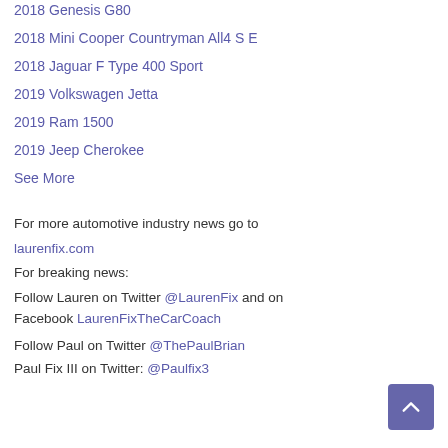2018 Genesis G80
2018 Mini Cooper Countryman All4 S E
2018 Jaguar F Type 400 Sport
2019 Volkswagen Jetta
2019 Ram 1500
2019 Jeep Cherokee
See More
For more automotive industry news go to
laurenfix.com
For breaking news:
Follow Lauren on Twitter @LaurenFix and on Facebook LaurenFixTheCarCoach
Follow Paul on Twitter @ThePaulBrian
Paul Fix III on Twitter: @Paulfix3